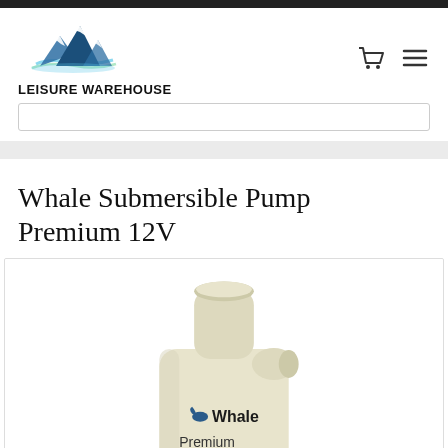[Figure (logo): Leisure Warehouse logo with mountain graphic above text LEISURE WAREHOUSE]
[Figure (other): Shopping cart icon and hamburger menu icon in top right navigation]
Whale Submersible Pump Premium 12V
[Figure (photo): Photo of a cream/beige colored Whale Premium submersible pump showing the cylindrical body with outlet nozzle at top and Whale branding and 'Premium' text visible on the body]